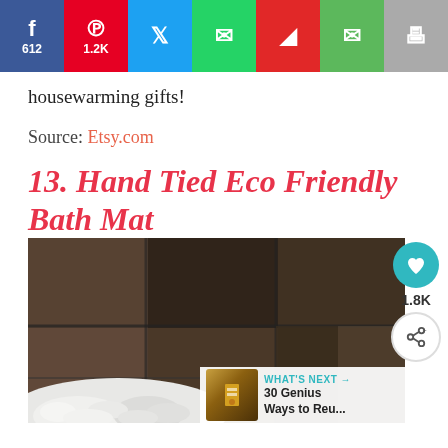Social sharing bar: Facebook 612, Pinterest 1.2K, Twitter, WhatsApp, Flipboard, Email, Print
housewarming gifts!
Source: Etsy.com
13. Hand Tied Eco Friendly Bath Mat
[Figure (photo): Photo of a bathroom corner with dark brown/grey tiles and white pebble/gravel bath mat visible at bottom left. Sidebar with heart button showing 1.8K and share button. 'What's Next' overlay showing '30 Genius Ways to Reu...']